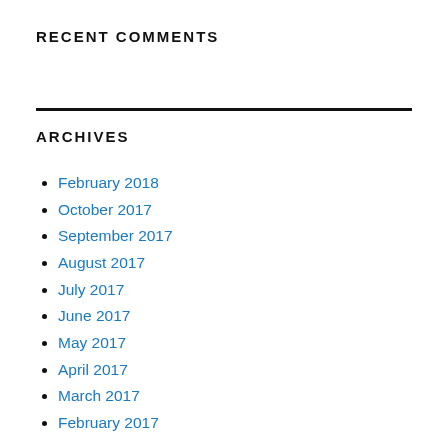RECENT COMMENTS
ARCHIVES
February 2018
October 2017
September 2017
August 2017
July 2017
June 2017
May 2017
April 2017
March 2017
February 2017